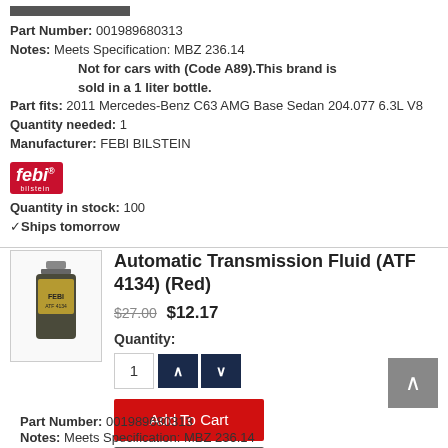Part Number: 001989680313
Notes: Meets Specification: MBZ 236.14 Not for cars with (Code A89). This brand is sold in a 1 liter bottle.
Part fits: 2011 Mercedes-Benz C63 AMG Base Sedan 204.077 6.3L V8
Quantity needed: 1
Manufacturer: FEBI BILSTEIN
[Figure (logo): FEBI BILSTEIN red logo]
Quantity in stock: 100
✓Ships tomorrow
Automatic Transmission Fluid (ATF 4134) (Red)
$27.00 $12.17
Quantity:
Add To Cart
Question ?
Part Number: 001989680313
Notes: Meets Specification: MBZ 236.14